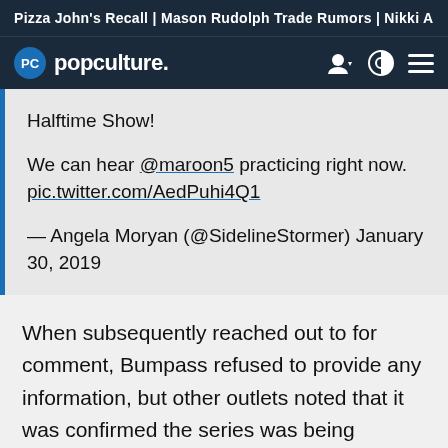Pizza John's Recall | Mason Rudolph Trade Rumors | Nikki A
popculture.
Halftime Show!

We can hear @maroon5 practicing right now. pic.twitter.com/AedPuhi4Q1

— Angela Moryan (@SidelineStormer) January 30, 2019
When subsequently reached out to for comment, Bumpass refused to provide any information, but other outlets noted that it was confirmed the series was being included.